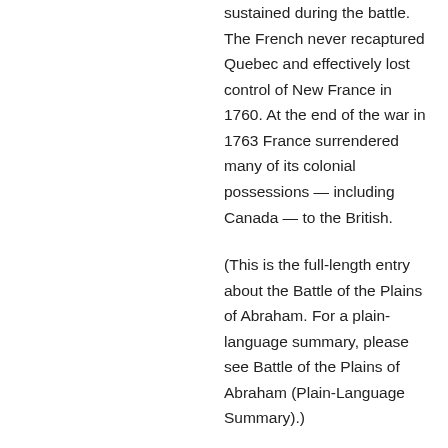sustained during the battle. The French never recaptured Quebec and effectively lost control of New France in 1760. At the end of the war in 1763 France surrendered many of its colonial possessions — including Canada — to the British.
(This is the full-length entry about the Battle of the Plains of Abraham. For a plain-language summary, please see Battle of the Plains of Abraham (Plain-Language Summary).)